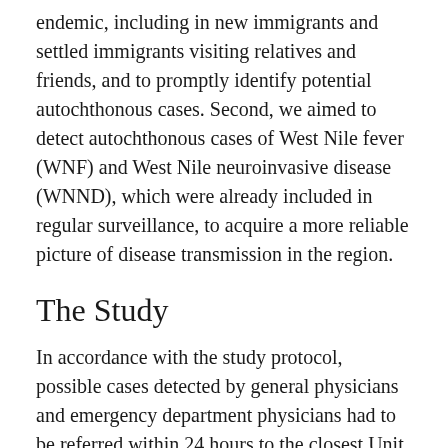endemic, including in new immigrants and settled immigrants visiting relatives and friends, and to promptly identify potential autochthonous cases. Second, we aimed to detect autochthonous cases of West Nile fever (WNF) and West Nile neuroinvasive disease (WNND), which were already included in regular surveillance, to acquire a more reliable picture of disease transmission in the region.
The Study
In accordance with the study protocol, possible cases detected by general physicians and emergency department physicians had to be referred within 24 hours to the closest Unit of Infectious or Tropical Diseases. Serum samples from persons with possible cases were sent to the regional reference laboratory (Padua, Italy) for confirmation. If neuroinvasive